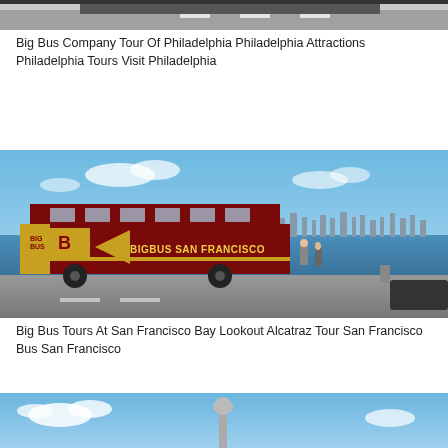[Figure (photo): Top portion of a bus tour image, partially cropped, showing road markings and vehicle top]
Big Bus Company Tour Of Philadelphia Philadelphia Attractions Philadelphia Tours Visit Philadelphia
[Figure (photo): Big Bus Tours double-decker red and gold bus at San Francisco Bay Lookout with Alcatraz and the city skyline visible in the background. The bus reads BIGBUS SAN FRANCISCO.]
Big Bus Tours At San Francisco Bay Lookout Alcatraz Tour San Francisco Bus San Francisco
[Figure (photo): Bottom portion of a tour image showing blue sky with clouds and a monument or statue silhouette]